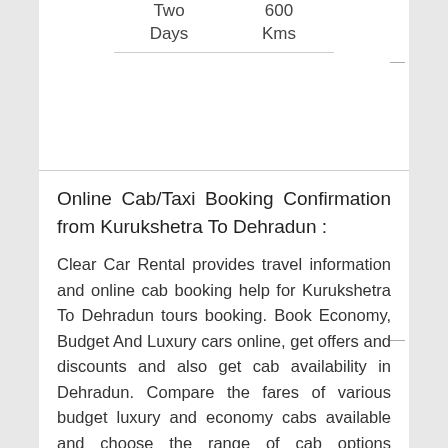| Two Days | 600 Kms |  |
Online Cab/Taxi Booking Confirmation from Kurukshetra To Dehradun :
Clear Car Rental provides travel information and online cab booking help for Kurukshetra To Dehradun tours booking. Book Economy, Budget And Luxury cars online, get offers and discounts and also get cab availability in Dehradun. Compare the fares of various budget luxury and economy cabs available and choose the range of cab options available online from Kurukshetra To Dehradun. Online Cab Hire Kurukshetra To Dehradun. Online confirmation of car from Kurukshetra To Dehradun. Car hire to Dehradun available online. Clear car Rental provides cab with